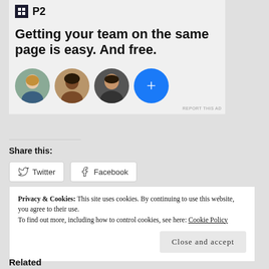[Figure (screenshot): P2 advertisement banner with logo, headline 'Getting your team on the same page is easy. And free.' and three person avatars plus a blue plus button.]
REPORT THIS AD
Share this:
Twitter
Facebook
Privacy & Cookies: This site uses cookies. By continuing to use this website, you agree to their use.
To find out more, including how to control cookies, see here: Cookie Policy
Close and accept
Related